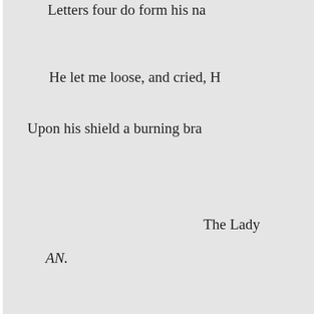Letters four do form his na
He let me loose, and cried, H
Upon his shield a burning bra
The Lady
AN.
He let us loose, and cried, H
The deep, the low, the pleadin
With whic
FAMINE.
Wisdom comes with lack of
She listen'd with a flitting blu
With downcast eyes, and mod
And she forgave me, that I gaz